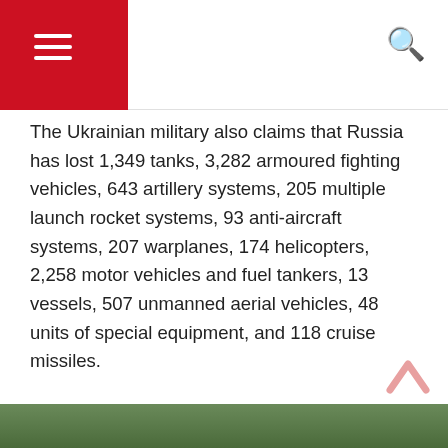Navigation header with hamburger menu and search icon
The Ukrainian military also claims that Russia has lost 1,349 tanks, 3,282 armoured fighting vehicles, 643 artillery systems, 205 multiple launch rocket systems, 93 anti-aircraft systems, 207 warplanes, 174 helicopters, 2,258 motor vehicles and fuel tankers, 13 vessels, 507 unmanned aerial vehicles, 48 units of special equipment, and 118 cruise missiles.
Last week, Russian President Vladimir Putin signed a decree that makes it easier for Ukrainians in occupied areas to become citizens of Russia. He also scrapped the upper age limit for contractual service in the military.
[Figure (photo): Partial green foliage/military scene at bottom of page]